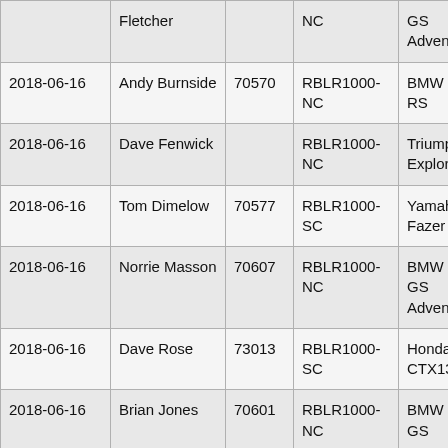| Date | Name | Number | Route | Bike |
| --- | --- | --- | --- | --- |
|  | Fletcher |  | NC | GS Adventure |
| 2018-06-16 | Andy Burnside | 70570 | RBLR1000-NC | BMW R1200 RS |
| 2018-06-16 | Dave Fenwick |  | RBLR1000-NC | Triumph Tiger Explorer |
| 2018-06-16 | Tom Dimelow | 70577 | RBLR1000-SC | Yamaha Fazer 8 |
| 2018-06-16 | Norrie Masson | 70607 | RBLR1000-NC | BMW R1200 GS Adventure |
| 2018-06-16 | Dave Rose | 73013 | RBLR1000-SC | Honda CTX1300 |
| 2018-06-16 | Brian Jones | 70601 | RBLR1000-NC | BMW R1200 GS |
| 2018-06-16 | Andy Fowler | 70583 | RBLR1000-SC | Suzuki DL650 V-Strom |